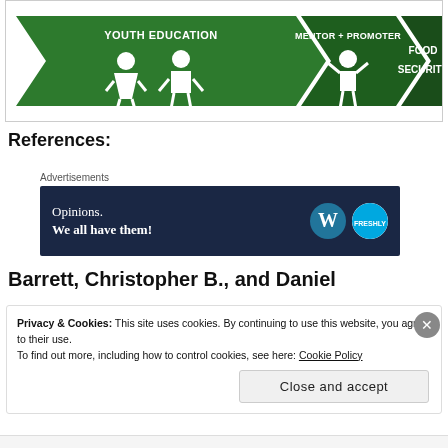[Figure (infographic): Green arrow infographic showing pathway: Youth Education (icon of two children) → Mentor + Promoter (icon of person with arms raised) → Food Security (text label)]
References:
Advertisements
[Figure (other): Dark navy blue advertisement banner reading 'Opinions. We all have them!' with WordPress logo and Freshly Picked logo on the right]
Barrett, Christopher B., and Daniel
Privacy & Cookies: This site uses cookies. By continuing to use this website, you agree to their use. To find out more, including how to control cookies, see here: Cookie Policy
Close and accept